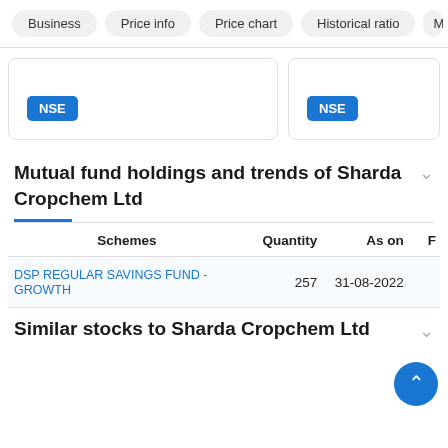Business | Price info | Price chart | Historical ratio | Marg
[Figure (screenshot): Two card panels each showing NSE badge]
Mutual fund holdings and trends of Sharda Cropchem Ltd
| Schemes | Quantity | As on | F |
| --- | --- | --- | --- |
| DSP REGULAR SAVINGS FUND - GROWTH | 257 | 31-08-2022 |  |
Similar stocks to Sharda Cropchem Ltd